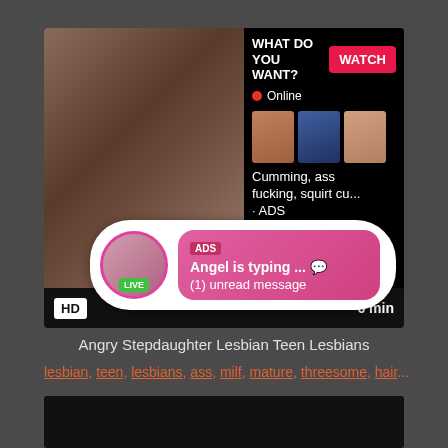[Figure (screenshot): Video thumbnail showing adult content with overlay ad popup. Main thumbnail on left, side panel with 'WHAT DO YOU WANT?' text and WATCH button, Online indicator, small thumbnails, 'Cumming, ass fucking, squirt cu... · ADS' text. Popup bubble with avatar labeled LIVE, ADS tag, 'Angel is typing ... 💬', '(1) unread message'. HD badge bottom-left, '6 min' bottom-right.]
Angry Stepdaughter Lesbian Teen Lesbians
lesbian, teen, lesbians, ass, milf, mature, threesome, hair...
[Figure (photo): Dark/black thumbnail at bottom of page]